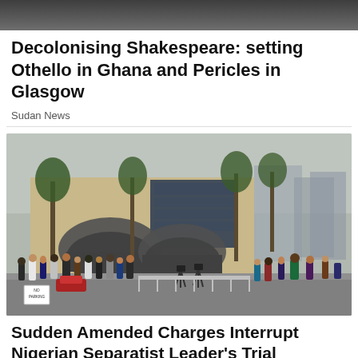[Figure (photo): Partial top strip of an image, appears to be a dark/grey cropped photo at the very top of the page]
Decolonising Shakespeare: setting Othello in Ghana and Pericles in Glasgow
Sudan News
[Figure (photo): Photograph of a large official government building (courthouse) with palm trees, crowds of people gathered outside on the street, and multiple tall buildings in the background. A 'No Parking' sign is visible.]
Sudden Amended Charges Interrupt Nigerian Separatist Leader's Trial
ABUJA -  Nigerian prosecutors added charges against